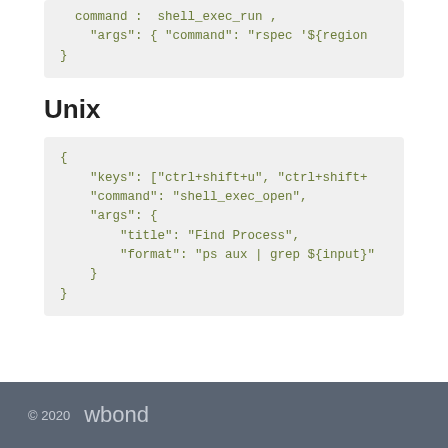command : shell_exec_run ,
    "args": { "command": "rspec '${region
}
Unix
{
    "keys": ["ctrl+shift+u", "ctrl+shift+
    "command": "shell_exec_open",
    "args": {
        "title": "Find Process",
        "format": "ps aux | grep ${input}"
    }
}
© 2020  wbond